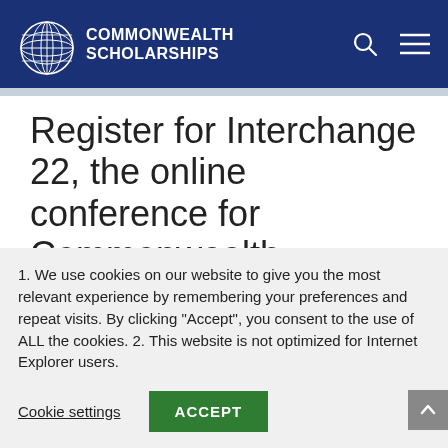[Figure (logo): Commonwealth Scholarships logo with globe icon and text COMMONWEALTH SCHOLARSHIPS in white on dark blue header, with search and menu icons]
Register for Interchange 22, the online conference for Commonwealth
1. We use cookies on our website to give you the most relevant experience by remembering your preferences and repeat visits. By clicking “Accept”, you consent to the use of ALL the cookies. 2. This website is not optimized for Internet Explorer users.
Cookie settings  ACCEPT